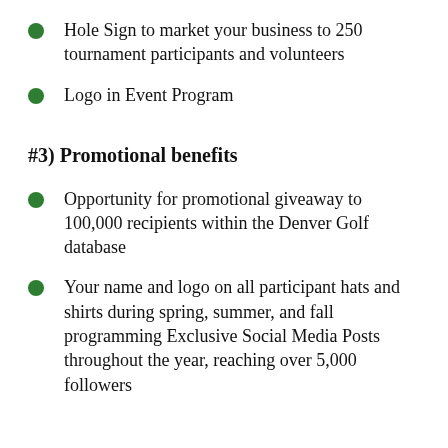Hole Sign to market your business to 250 tournament participants and volunteers
Logo in Event Program
#3) Promotional benefits
Opportunity for promotional giveaway to 100,000 recipients within the Denver Golf database
Your name and logo on all participant hats and shirts during spring, summer, and fall programming Exclusive Social Media Posts throughout the year, reaching over 5,000 followers